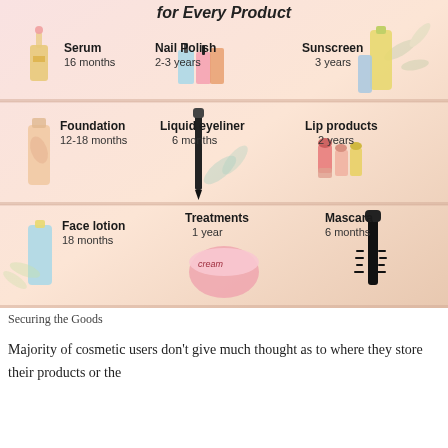[Figure (infographic): Cosmetics shelf life infographic showing product expiry times: Serum 16 months, Nail Polish 2-3 years, Sunscreen 3 years, Foundation 12-18 months, Liquid eyeliner 6 months, Lip products 2 years, Face lotion 18 months, Treatments 1 year, Mascara 6 months]
Securing the Goods
Majority of cosmetic users don't give much thought as to where they store their products or the